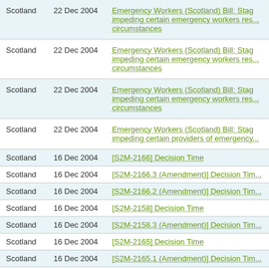| Region | Date | Title |
| --- | --- | --- |
| Scotland | 22 Dec 2004 | Emergency Workers (Scotland) Bill: Stage 3 - Offences of impeding certain emergency workers res... circumstances |
| Scotland | 22 Dec 2004 | Emergency Workers (Scotland) Bill: Stage 3 - Offences of impeding certain emergency workers res... circumstances |
| Scotland | 22 Dec 2004 | Emergency Workers (Scotland) Bill: Stage 3 - Offences of impeding certain emergency workers res... circumstances |
| Scotland | 22 Dec 2004 | Emergency Workers (Scotland) Bill: Stag... impeding certain providers of emergency... |
| Scotland | 16 Dec 2004 | [S2M-2166] Decision Time |
| Scotland | 16 Dec 2004 | [S2M-2166.3 (Amendment)] Decision Tim... |
| Scotland | 16 Dec 2004 | [S2M-2166.2 (Amendment)] Decision Tim... |
| Scotland | 16 Dec 2004 | [S2M-2158] Decision Time |
| Scotland | 16 Dec 2004 | [S2M-2158.3 (Amendment)] Decision Tim... |
| Scotland | 16 Dec 2004 | [S2M-2165] Decision Time |
| Scotland | 16 Dec 2004 | [S2M-2165.1 (Amendment)] Decision Tim... |
| Scotland | 16 Dec 2004 | [S2M-2165.3 (Amendment)] Decision Tim... |
| Scotland | 16 Dec 2004 | [S2M-2165.4 (Amendment)] Decision Tim... |